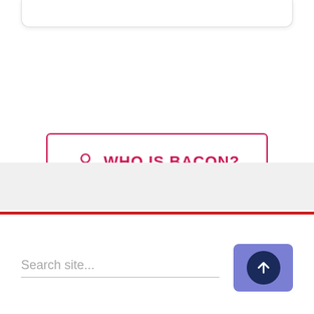[Figure (screenshot): Top portion of a white card/panel with rounded bottom corners and a subtle drop shadow, partially visible at the top of the page.]
WHO IS BACON?
[Figure (screenshot): Footer area with a gray background band, a red horizontal line below it, a search input field labeled 'Search site...' with an underline, and a purple rounded button containing a dark navy circle with a white upward arrow icon.]